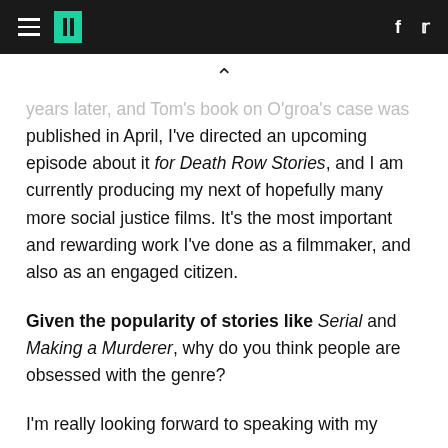HuffPost header navigation bar
years later, and Tom's book on O'groa's case was published in April, I've directed an upcoming episode about it for Death Row Stories, and I am currently producing my next of hopefully many more social justice films. It's the most important and rewarding work I've done as a filmmaker, and also as an engaged citizen.
Given the popularity of stories like Serial and Making a Murderer, why do you think people are obsessed with the genre?
I'm really looking forward to speaking with my